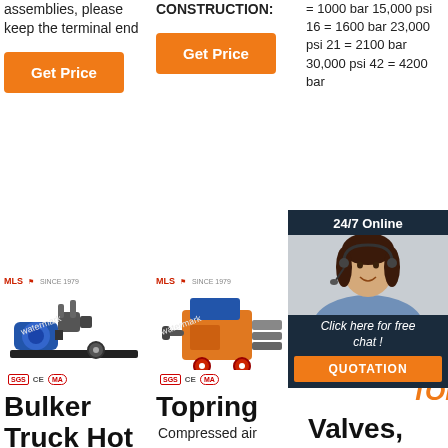assemblies, please keep the terminal end
CONSTRUCTION:
= 1000 bar 15,000 psi 16 = 1600 bar 23,000 psi 21 = 2100 bar 30,000 psi 42 = 4200 bar
[Figure (other): Orange Get Price button, column 1]
[Figure (other): Orange Get Price button, column 2]
[Figure (other): 24/7 Online chat overlay with agent photo, Click here for free chat, QUOTATION button]
[Figure (photo): Bulker truck hot pump industrial machine with certifications]
[Figure (photo): Topring compressed air machine with certifications]
[Figure (photo): Valves and fittings product with TOP logo]
Bulker
Truck Hot
Topring
Compressed air
Valves,
Fittings